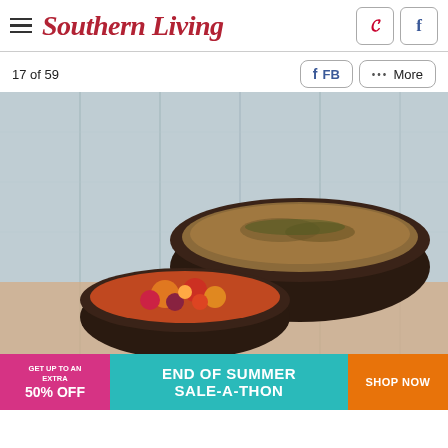Southern Living
17 of 59
[Figure (photo): Two dark ceramic bowls on a wooden surface against a whitewashed wood background. The larger bowl contains a grain or crumble dish garnished with herbs. The smaller bowl contains a colorful fruit salad with cranberries, oranges, and other fruits.]
[Figure (infographic): Advertisement banner: GET UP TO AN EXTRA 50% OFF | END OF SUMMER SALE-A-THON | SHOP NOW]